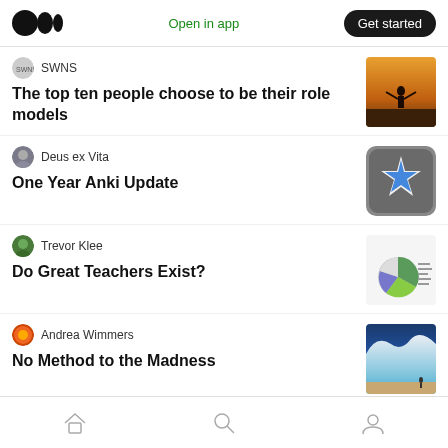Medium logo | Open in app | Get started
SWNS
The top ten people choose to be their role models
Deus ex Vita
One Year Anki Update
Trevor Klee
Do Great Teachers Exist?
Andrea Wimmers
No Method to the Madness
Home | Search | Profile